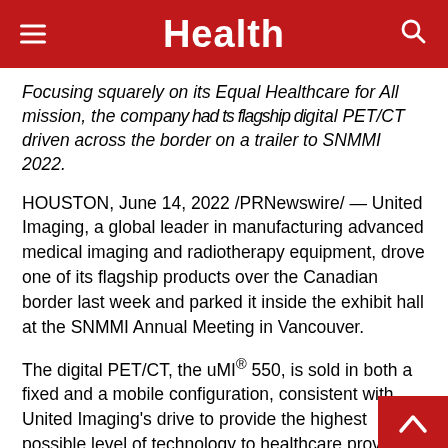Health
Focusing squarely on its Equal Healthcare for All mission, the company had its flagship digital PET/CT driven across the border on a trailer to SNMMI 2022.
HOUSTON, June 14, 2022 /PRNewswire/ — United Imaging, a global leader in manufacturing advanced medical imaging and radiotherapy equipment, drove one of its flagship products over the Canadian border last week and parked it inside the exhibit hall at the SNMMI Annual Meeting in Vancouver.
The digital PET/CT, the uMI® 550, is sold in both a fixed and a mobile configuration, consistent with United Imaging's drive to provide the highest possible level of technology to healthcare prov... in any kind of setting to help them serve their...